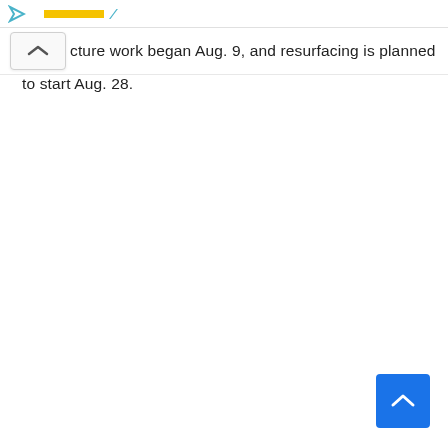[partial header with yellow bar and icon]
cture work began Aug. 9, and resurfacing is planned to start Aug. 28.
[Figure (screenshot): Blue scroll-to-top button with upward chevron arrow in bottom-right corner]